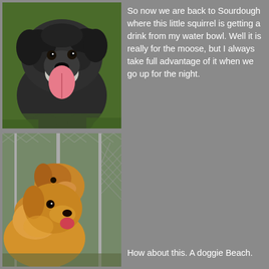[Figure (photo): Close-up photo of a shaggy black and white terrier dog with tongue hanging out, standing on green grass]
So now we are back to Sourdough where this little squirrel is getting a drink from my water bowl. Well it is really for the moose, but I always take full advantage of it when we go up for the night.
[Figure (photo): Two golden retriever dogs looking through a chain-link fence at a doggie beach]
How about this. A doggie Beach.